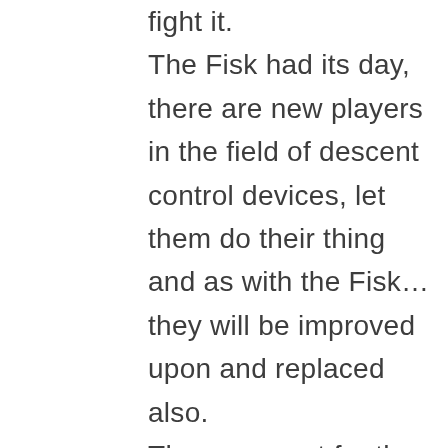fight it. The Fisk had its day, there are new players in the field of descent control devices, let them do their thing and as with the Fisk…they will be improved upon and replaced also. The argument for the Fisk is one you will never win, especially in respect of h